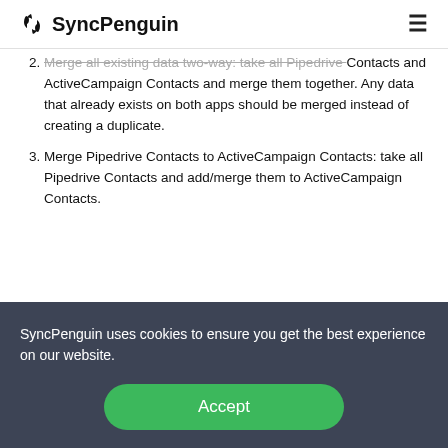SyncPenguin
Merge all existing data two-way: take all Pipedrive Contacts and ActiveCampaign Contacts and merge them together. Any data that already exists on both apps should be merged instead of creating a duplicate.
Merge Pipedrive Contacts to ActiveCampaign Contacts: take all Pipedrive Contacts and add/merge them to ActiveCampaign Contacts.
SyncPenguin uses cookies to ensure you get the best experience on our website.
Accept